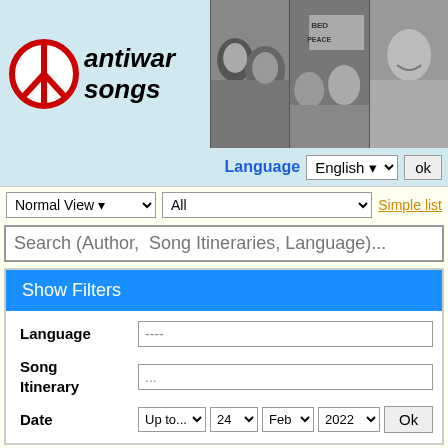[Figure (logo): Antiwar Songs logo with peace symbol and italic text]
[Figure (photo): Black and white header photos showing John Lennon, Yoko Ono, and others with BED PEACE sign]
Language  English  ok
Normal View   All   Simple list
Search (Author, Song Itineraries, Language)...
Show Filters
Language  ----
Song Itinerary  ...
Date  Up to...  24  Feb  2022  Ok
Before 2022-2-24
Remove all filters
More recent...